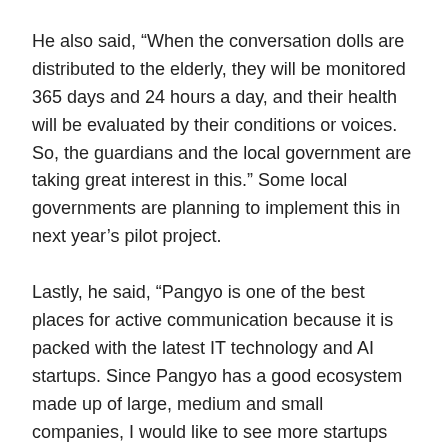He also said, “When the conversation dolls are distributed to the elderly, they will be monitored 365 days and 24 hours a day, and their health will be evaluated by their conditions or voices. So, the guardians and the local government are taking great interest in this.” Some local governments are planning to implement this in next year’s pilot project.
Lastly, he said, “Pangyo is one of the best places for active communication because it is packed with the latest IT technology and AI startups. Since Pangyo has a good ecosystem made up of large, medium and small companies, I would like to see more startups use this infrastructure as their testbeds, thus recognized for the value of their products.”
Mr. Mind, the company that provides a customized